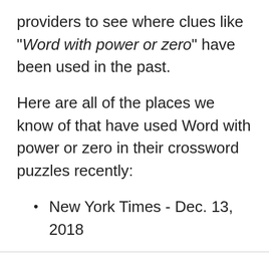providers to see where clues like "Word with power or zero" have been used in the past.
Here are all of the places we know of that have used Word with power or zero in their crossword puzzles recently:
New York Times - Dec. 13, 2018